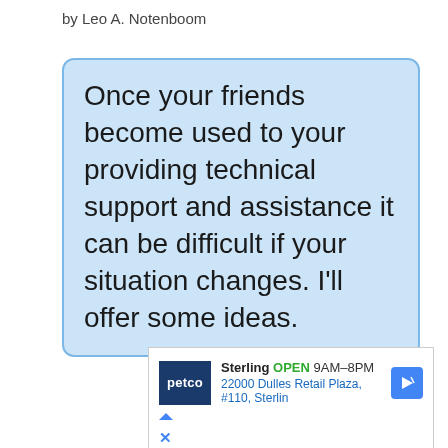by Leo A. Notenboom
Once your friends become used to your providing technical support and assistance it can be difficult if your situation changes. I'll offer some ideas.
[Figure (screenshot): Petco advertisement showing Sterling location, OPEN 9AM-8PM, 22000 Dulles Retail Plaza, #110, Sterling with navigation arrow icon and play/close controls]